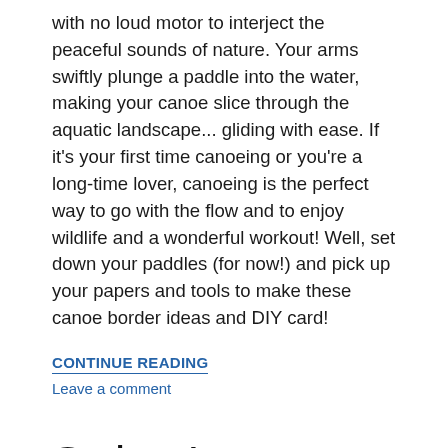with no loud motor to interject the peaceful sounds of nature. Your arms swiftly plunge a paddle into the water, making your canoe slice through the aquatic landscape... gliding with ease. If it's your first time canoeing or you're a long-time lover, canoeing is the perfect way to go with the flow and to enjoy wildlife and a wonderful workout! Well, set down your paddles (for now!) and pick up your papers and tools to make these canoe border ideas and DIY card!
CONTINUE READING
Leave a comment
Swing Into Action With This Outdoor